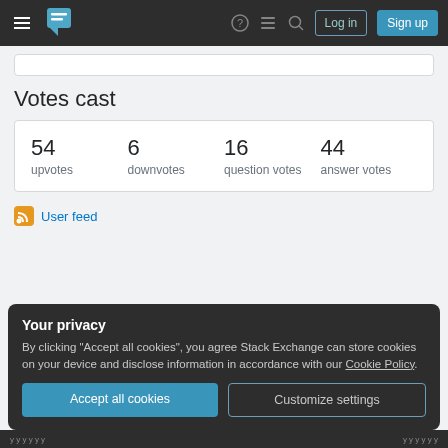Stack Exchange navigation bar with Log in and Sign up buttons
Votes cast
| 54 upvotes | 6 downvotes | 16 question votes | 44 answer votes |
| --- | --- | --- | --- |
User feed
Your privacy
By clicking "Accept all cookies", you agree Stack Exchange can store cookies on your device and disclose information in accordance with our Cookie Policy.
Accept all cookies
Customize settings